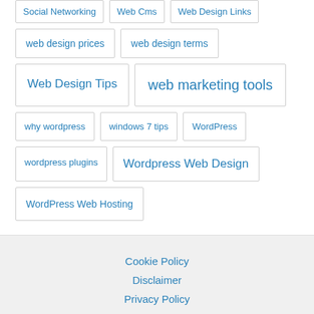web design prices
web design terms
Web Design Tips
web marketing tools
why wordpress
windows 7 tips
WordPress
wordpress plugins
Wordpress Web Design
WordPress Web Hosting
Cookie Policy
Disclaimer
Privacy Policy
Linking Policy
Terms of Use
Testimonials Ping...